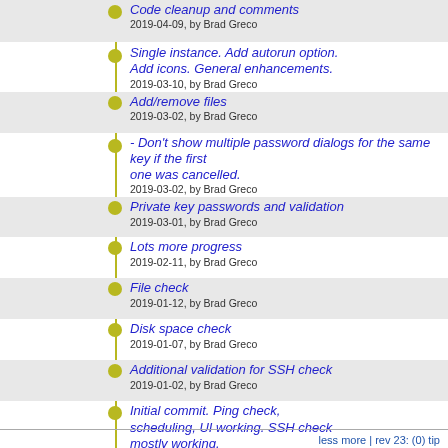Code cleanup and comments
2019-04-09, by Brad Greco
Single instance. Add autorun option. Add icons. General enhancements.
2019-03-10, by Brad Greco
Add/remove files
2019-03-02, by Brad Greco
- Don't show multiple password dialogs for the same key if the first one was cancelled.
2019-03-02, by Brad Greco
Private key passwords and validation
2019-03-01, by Brad Greco
Lots more progress
2019-02-11, by Brad Greco
File check
2019-01-12, by Brad Greco
Disk space check
2019-01-07, by Brad Greco
Additional validation for SSH check
2019-01-02, by Brad Greco
Initial commit. Ping check, scheduling, UI working. SSH check mostly working.
2018-12-31, by Brad Greco
No more entries
less more | rev 23: (0) tip